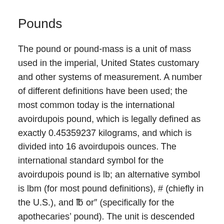Pounds
The pound or pound-mass is a unit of mass used in the imperial, United States customary and other systems of measurement. A number of different definitions have been used; the most common today is the international avoirdupois pound, which is legally defined as exactly 0.45359237 kilograms, and which is divided into 16 avoirdupois ounces. The international standard symbol for the avoirdupois pound is lb; an alternative symbol is lbm (for most pound definitions), # (chiefly in the U.S.), and ℔ or ″ (specifically for the apothecaries' pound). The unit is descended from the Roman libra (hence the abbreviation "lb"). The English word pound is cognate with, among others, German Pfund, Dutch pond, and Swedish pund. All ultimately derive from a borrowing into Proto-Germanic of the Latin expression lībra pondō ("a pound by weight"), in which the word pondō is the ablative case of the Latin